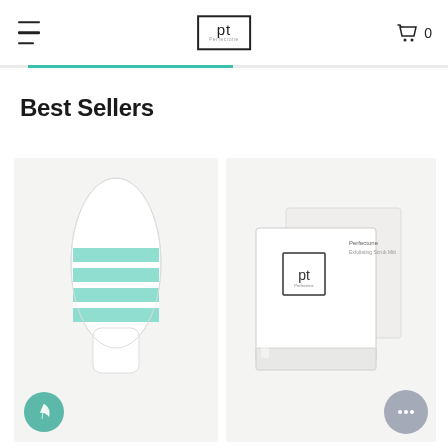[Figure (screenshot): E-commerce website header with hamburger menu, 'pt' (Perfectone) logo in a box, and shopping cart icon with '0']
Best Sellers
[Figure (photo): Green and white striped exfoliating bath mitt/glove on light gray background, with a green feather badge in bottom left corner]
[Figure (photo): White PT branded product box/packaging on light gray background, with gray chat bubble widget in bottom right corner]